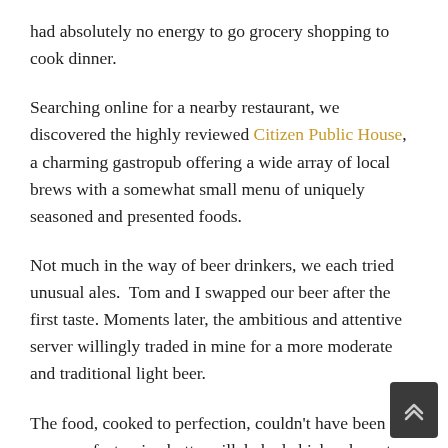had absolutely no energy to go grocery shopping to cook dinner.
Searching online for a nearby restaurant, we discovered the highly reviewed Citizen Public House, a charming gastropub offering a wide array of local brews with a somewhat small menu of uniquely seasoned and presented foods.
Not much in the way of beer drinkers, we each tried unusual ales.  Tom and I swapped our beer after the first taste. Moments later, the ambitious and attentive server willingly traded in mine for a more moderate and traditional light beer.
The food, cooked to perfection, couldn't have been more perfect, mine buttermilk baked chicken breast with roasted Brussels sprouts and Tom's, a liqueur seasoned meat loaf with mashed parsnips and smashed red potatoes. The